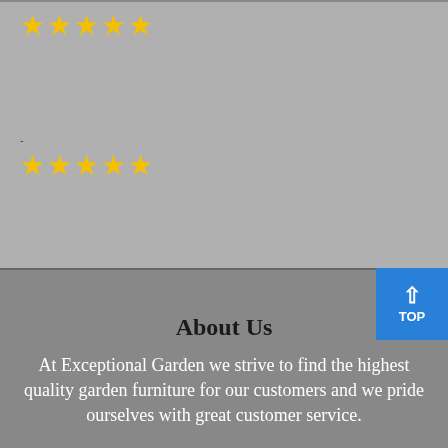[Figure (other): Five yellow star rating icons in a row]
-
[Figure (other): Five yellow star rating icons in a row]
-
About Us
At Exceptional Garden we strive to find the highest quality garden furniture for our customers and we pride ourselves with great customer service.